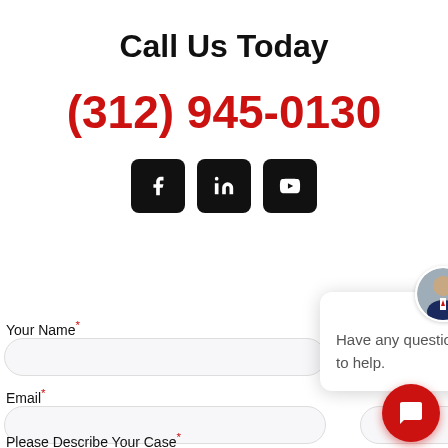Call Us Today
(312) 945-0130
[Figure (infographic): Social media icon buttons: Facebook, LinkedIn, YouTube — black rounded square buttons with white icons]
Your Name*
Email*
[Figure (screenshot): Chat widget popup with avatar photo of man in suit, close button (x), and text: Have any questions? I'm happy to help. Red circular chat FAB button at bottom right.]
Please Describe Your Case*